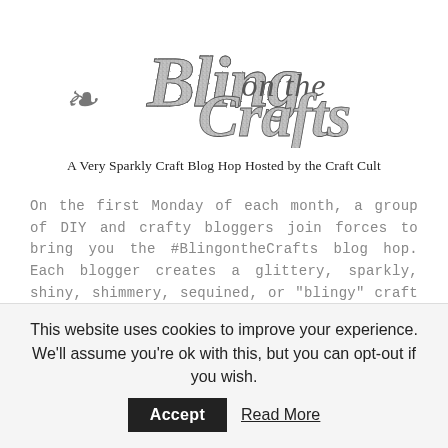[Figure (logo): Decorative sparkly script logo reading 'Bling on the Crafts']
A Very Sparkly Craft Blog Hop Hosted by the Craft Cult
On the first Monday of each month, a group of DIY and crafty bloggers join forces to bring you the #BlingontheCrafts blog hop. Each blogger creates a glittery, sparkly, shiny, shimmery, sequined, or "blingy" craft to share that goes with a monthly theme.
This website uses cookies to improve your experience. We'll assume you're ok with this, but you can opt-out if you wish.  Accept  Read More